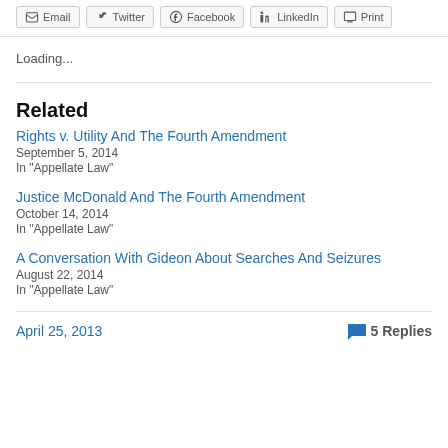Email | Twitter | Facebook | LinkedIn | Print
Loading...
Related
Rights v. Utility And The Fourth Amendment
September 5, 2014
In "Appellate Law"
Justice McDonald And The Fourth Amendment
October 14, 2014
In "Appellate Law"
A Conversation With Gideon About Searches And Seizures
August 22, 2014
In "Appellate Law"
April 25, 2013 | 5 Replies